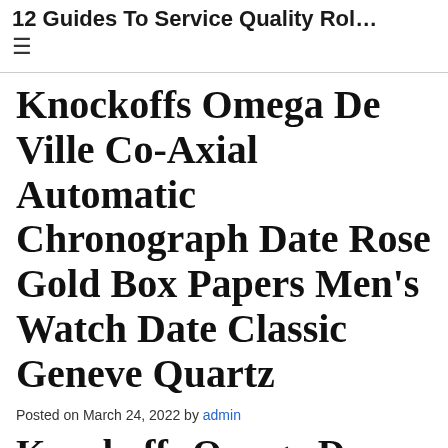12 Guides To Service Quality Rol…
Knockoffs Omega De Ville Co-Axial Automatic Chronograph Date Rose Gold Box Papers Men's Watch Date Classic Geneve Quartz
Posted on March 24, 2022 by admin
Knockoffs Omega De Ville Co-